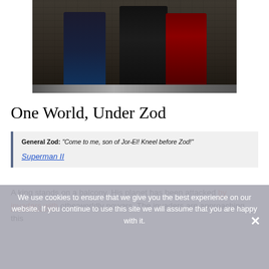[Figure (photo): Three figures in dark superhero/villain costumes standing in front of a brick wall backdrop. Left figure in dark blue uniform, center figure in black with a symbol on chest, right figure in red suit.]
One World, Under Zod
General Zod: "Come to me, son of Jor-El! Kneel before Zod!"
Superman II
We use cookies to ensure that we give you the best experience on our website. If you continue to use this site we will assume that you are happy with it.
A king stands on a balcony. His planet has been attacked by invaders with otherworldly powers. The invaders are approaching this